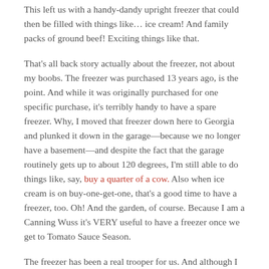This left us with a handy-dandy upright freezer that could then be filled with things like… ice cream! And family packs of ground beef! Exciting things like that.
That's all back story actually about the freezer, not about my boobs. The freezer was purchased 13 years ago, is the point. And while it was originally purchased for one specific purchase, it's terribly handy to have a spare freezer. Why, I moved that freezer down here to Georgia and plunked it down in the garage—because we no longer have a basement—and despite the fact that the garage routinely gets up to about 120 degrees, I'm still able to do things like, say, buy a quarter of a cow. Also when ice cream is on buy-one-get-one, that's a good time to have a freezer, too. Oh! And the garden, of course. Because I am a Canning Wuss it's VERY useful to have a freezer once we get to Tomato Sauce Season.
The freezer has been a real trooper for us. And although I